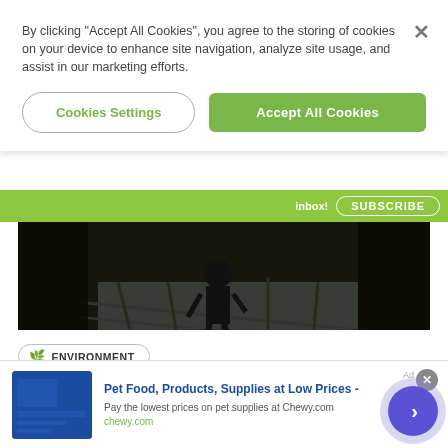By clicking “Accept All Cookies”, you agree to the storing of cookies on your device to enhance site navigation, analyze site usage, and assist in our marketing efforts.
Cookies Settings
Accept All Cookies
inbox!  SUBSCRIBE
[Figure (photo): Dark industrial photo showing workers or equipment viewed from below, with metal grating and machinery visible against a sky background.]
🌿 ENVIRONMENT
China Turns To Cloud-Seeding Weather
Pet Food, Products, Supplies at Low Prices -
Pay the lowest prices on pet supplies at Chewy.com
chewy.com